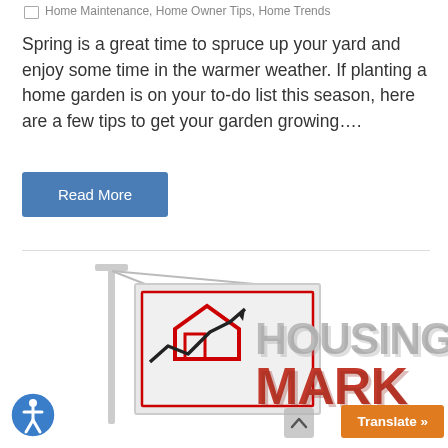Home Maintenance, Home Owner Tips, Home Trends
Spring is a great time to spruce up your yard and enjoy some time in the warmer weather. If planting a home garden is on your to-do list this season, here are a few tips to get your garden growing….
Read More
[Figure (illustration): Housing market promotional image with a real estate sign showing a house with an upward trending arrow chart, and large 3D letters spelling 'HOUSING MARK' in grey and red. Accessibility icon (blue circle with person figure) in bottom left. Orange 'Translate »' button in bottom right corner. Grey scroll-up arrow button.]